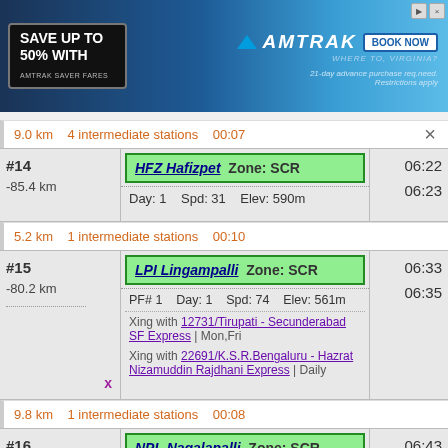[Figure (screenshot): Amtrak advertisement banner: 'Save up to 50% with Amtrak Saver Fares', with Amtrak logo, Book Now button, '21-day advance purchase required. Restrictions apply.']
9.0 km   4 intermediate stations   00:07
| # | Station | Time |
| --- | --- | --- |
| #14
-85.4 km | HFZ Hafizpet   Zone: SCR
Day: 1   Spd: 31   Elev: 590m | 06:22
06:23 |
5.2 km   1 intermediate stations   00:10
| # | Station | Time |
| --- | --- | --- |
| #15
-80.2 km
x | LPI Lingampalli   Zone: SCR
PF# 1   Day: 1   Spd: 74   Elev: 561m
Xing with 12731/Tirupati - Secunderabad SF Express | Mon,Fri
Xing with 22691/K.S.R.Bengaluru - Hazrat Nizamuddin Rajdhani Express | Daily | 06:33
06:35 |
9.8 km   1 intermediate stations   00:08
| # | Station | Time |
| --- | --- | --- |
| #16 | NPL Nagalapalli   Zone: SCR | 06:43 |